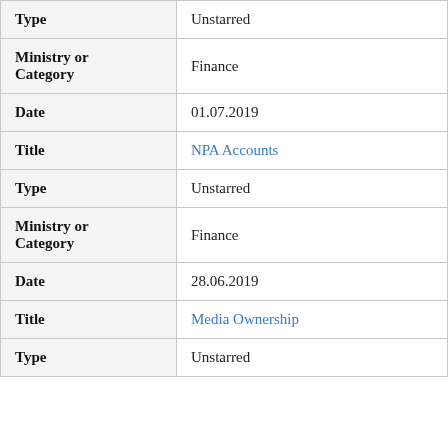| Field | Value |
| --- | --- |
| Type | Unstarred |
| Ministry or Category | Finance |
| Date | 01.07.2019 |
| Title | NPA Accounts |
| Type | Unstarred |
| Ministry or Category | Finance |
| Date | 28.06.2019 |
| Title | Media Ownership |
| Type | Unstarred |